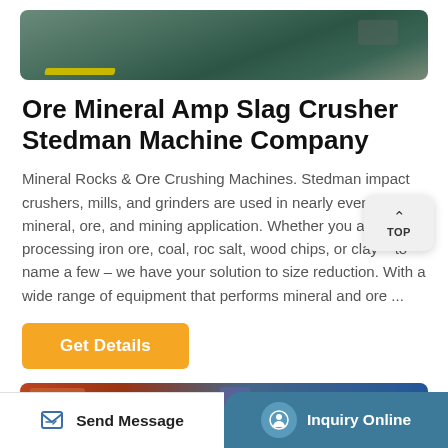[Figure (photo): Top portion of industrial crusher machine, aerial/close-up view with yellow marking visible]
Ore Mineral Amp Slag Crusher Stedman Machine Company
Mineral Rocks & Ore Crushing Machines. Stedman impact crushers, mills, and grinders are used in nearly every mineral, ore, and mining application. Whether you are processing iron ore, coal, rock salt, wood chips, or clay – to name a few – we have your solution to size reduction. With a wide range of equipment that performs mineral and ore ...
Get Details
[Figure (photo): Bottom strip showing partial view of industrial machinery]
Send Message | Inquiry Online